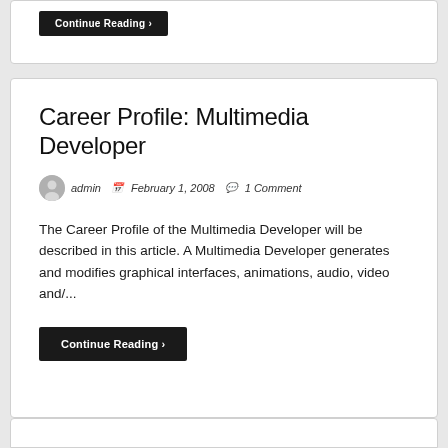Career Profile: Multimedia Developer
admin  February 1, 2008  1 Comment
The Career Profile of the Multimedia Developer will be described in this article. A Multimedia Developer generates and modifies graphical interfaces, animations, audio, video and/...
Continue Reading >